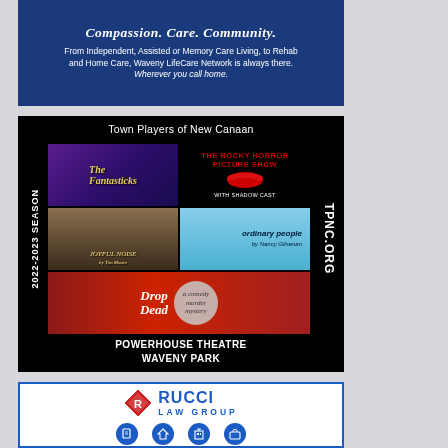[Figure (illustration): Waveny LifeCare Network advertisement with dark blue background. Title: 'Compassion. Care. Community.' Subtext: 'From Independent, Assisted or Memory Care Living, to Rehab and Home Care, Waveny LifeCare Network is always there. Wherever you call home.']
[Figure (illustration): Town Players of New Canaan 2022-2023 Season advertisement on black background. Shows four productions: The Fantasticks, The Rocky Horror Picture Show (with shadow cast), Joyful Noise by Tim Moore, Ordinary People by Nancy Gilsenan, Drop Dead (a comedy murder mystery). Bottom text: POWERHOUSE THEATRE WAVENY PARK. Right side: TPNC.ORG]
[Figure (logo): Rucci Law Group advertisement. Diamond logo with R, blue RUCCI text, LAW GROUP subtitle. Four blue circular icons at bottom representing different legal practice areas.]